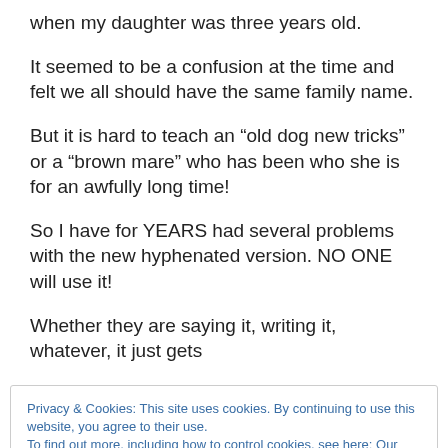when my daughter was three years old.
It seemed to be a confusion at the time and felt we all should have the same family name.
But it is hard to teach an “old dog new tricks” or a “brown mare” who has been who she is for an awfully long time!
So I have for YEARS had several problems with the new hyphenated version. NO ONE will use it!
Whether they are saying it, writing it, whatever, it just gets
Privacy & Cookies: This site uses cookies. By continuing to use this website, you agree to their use.
To find out more, including how to control cookies, see here: Our Cookie Policy
Close and accept